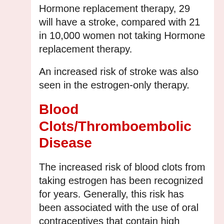Hormone replacement therapy, 29 will have a stroke, compared with 21 in 10,000 women not taking Hormone replacement therapy.
An increased risk of stroke was also seen in the estrogen-only therapy.
Blood Clots/Thromboembolic Disease
The increased risk of blood clots from taking estrogen has been recognized for years. Generally, this risk has been associated with the use of oral contraceptives that contain high doses of estrogen. It